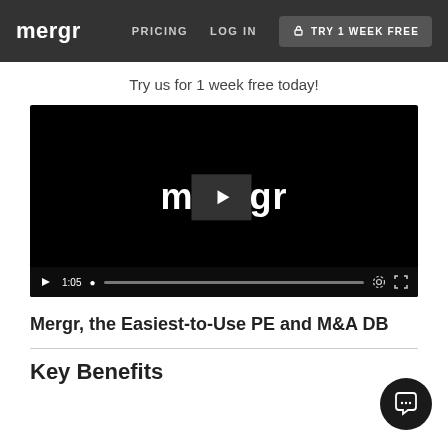mergr   PRICING   LOG IN   TRY 1 WEEK FREE
Try us for 1 week free today!
[Figure (screenshot): Video player with black background showing mergr logo and a play button in the center. Video controls at bottom show play button, timestamp 1:05, progress bar, settings icon, and fullscreen icon.]
Mergr, the Easiest-to-Use PE and M&A DB
Key Benefits